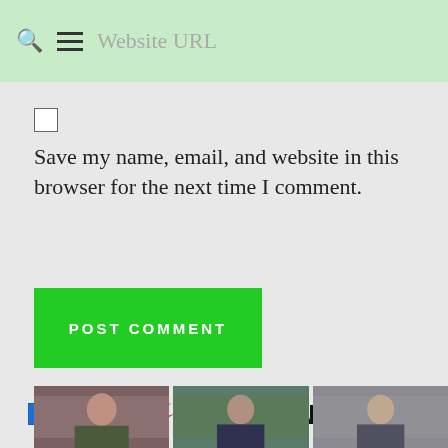Website URL
Save my name, email, and website in this browser for the next time I comment.
POST COMMENT
[Figure (logo): CommentLuv logo with red phoenix/wings icon and COMMENTLUV text in black and red]
[Figure (photo): Three portrait photos of people at the bottom of the page]